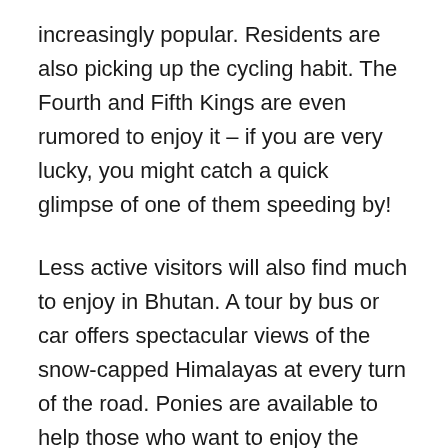increasingly popular. Residents are also picking up the cycling habit. The Fourth and Fifth Kings are even rumored to enjoy it – if you are very lucky, you might catch a quick glimpse of one of them speeding by!
Less active visitors will also find much to enjoy in Bhutan. A tour by bus or car offers spectacular views of the snow-capped Himalayas at every turn of the road. Ponies are available to help those who want to enjoy the beautiful path to Taktsang but do not relish the prospect of a steep hike at altitude.
We walked five minutes away from the temple to see the [cut off]